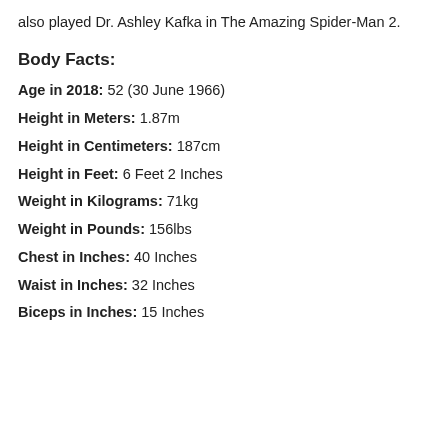also played Dr. Ashley Kafka in The Amazing Spider-Man 2.
Body Facts:
Age in 2018: 52 (30 June 1966)
Height in Meters: 1.87m
Height in Centimeters: 187cm
Height in Feet: 6 Feet 2 Inches
Weight in Kilograms: 71kg
Weight in Pounds: 156lbs
Chest in Inches: 40 Inches
Waist in Inches: 32 Inches
Biceps in Inches: 15 Inches